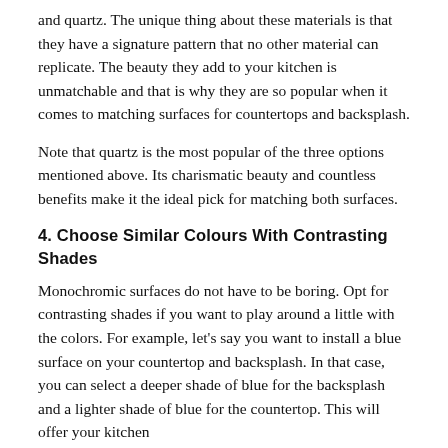and quartz. The unique thing about these materials is that they have a signature pattern that no other material can replicate. The beauty they add to your kitchen is unmatchable and that is why they are so popular when it comes to matching surfaces for countertops and backsplash.
Note that quartz is the most popular of the three options mentioned above. Its charismatic beauty and countless benefits make it the ideal pick for matching both surfaces.
4. Choose Similar Colours With Contrasting Shades
Monochromic surfaces do not have to be boring. Opt for contrasting shades if you want to play around a little with the colors. For example, let's say you want to install a blue surface on your countertop and backsplash. In that case, you can select a deeper shade of blue for the backsplash and a lighter shade of blue for the countertop. This will offer your kitchen...